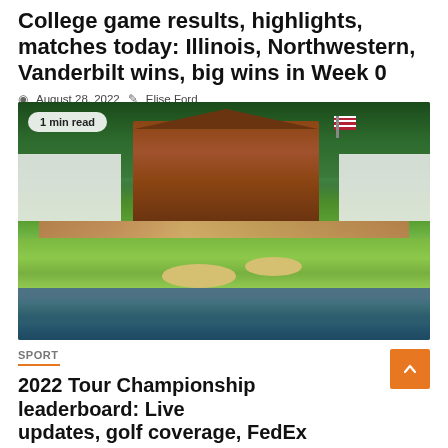College game results, highlights, matches today: Illinois, Northwestern, Vanderbilt wins, big wins in Week 0
August 28, 2022  Elise Ford
[Figure (photo): Aerial view of a golf course clubhouse with crowd, green fairways, bunkers, and water hazard, likely East Lake Golf Club for the Tour Championship]
SPORT
2022 Tour Championship leaderboard: Live updates, golf coverage, FedEx Playoffs Cup